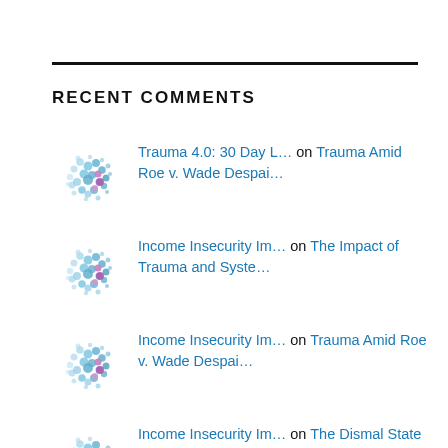RECENT COMMENTS
Trauma 4.0: 30 Day L… on Trauma Amid Roe v. Wade Despai…
Income Insecurity Im… on The Impact of Trauma and Syste…
Income Insecurity Im… on Trauma Amid Roe v. Wade Despai…
Income Insecurity Im… on The Dismal State of Maternal W…
wilsonhurley on Trauma Amid Roe v. Wade Despai…